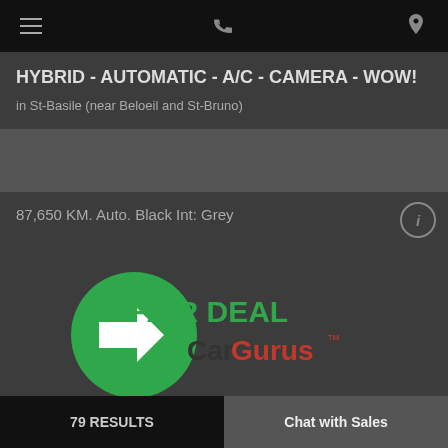navigation bar with hamburger, phone, and location icons
HYBRID - AUTOMATIC - A/C - CAMERA - WOW!
in St-Basile (near Beloeil and St-Bruno)
87,650 KM. Auto. Black Int: Grey
[Figure (logo): CarGurus Fair Deal badge with green circle arrow and CarGurus logo]
Reduced Price
[Figure (logo): Honda St-Basile dealership logo]
79 RESULTS | SORT / FILTER | Chat with Sales